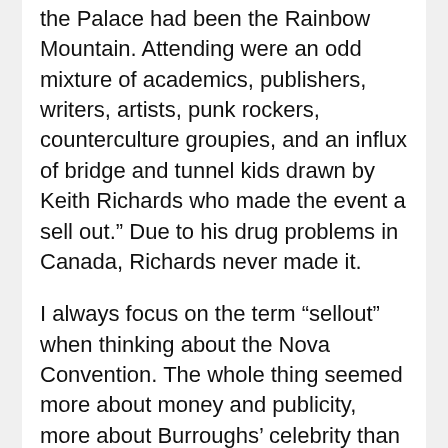the Palace had been the Rainbow Mountain. Attending were an odd mixture of academics, publishers, writers, artists, punk rockers, counterculture groupies, and an influx of bridge and tunnel kids drawn by Keith Richards who made the event a sell out.” Due to his drug problems in Canada, Richards never made it.
I always focus on the term “sellout” when thinking about the Nova Convention. The whole thing seemed more about money and publicity, more about Burroughs’ celebrity than a celebration of Burroughs. The double LP issued after the readings reminds me of a tie-in, a cashing-in. Even the readings in 1965 seem more pure somehow, although I feel stupid and naïve saying that. No doubt there are obvious similarities between the attendees of the Nova